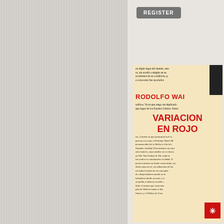[Figure (other): Left panel with light grey vertical striped texture background]
REGISTER
[Figure (illustration): Book cover image for 'VARIACIONES EN ROJO' by RODOLFO WAL[SCH?]. The cover shows a yellowed/beige background with black text body copy, large red bold title text 'VARIACIONES EN ROJO', red bold author name 'RODOLFO WAI...', a black photo in the top-right corner, a red asterisk badge at bottom right, and dense Spanish-language body text.]